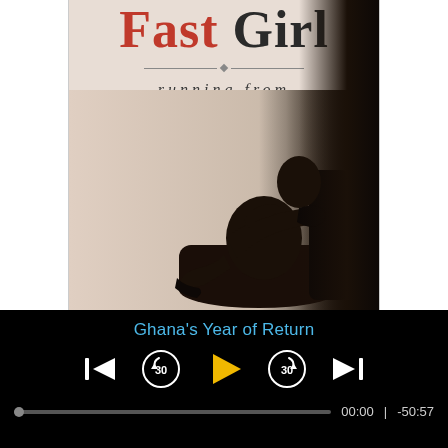[Figure (illustration): Book cover of 'Fast Girl: running from madness' showing a silhouette of a woman seated in a chair with legs crossed, against a warm sepia background with a dark curtain on the right side. The title 'Fast Girl' appears in large bold serif font at the top with 'Fast' in dark red/crimson. Subtitle 'running from madness' appears in italic spaced lettering below a decorative divider.]
Ghana's Year of Return
00:00  |  -50:57